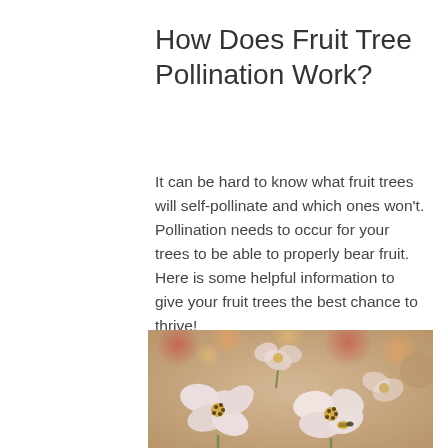How Does Fruit Tree Pollination Work?
It can be hard to know what fruit trees will self-pollinate and which ones won't. Pollination needs to occur for your trees to be able to properly bear fruit. Here is some helpful information to give your fruit trees the best chance to thrive!
[Figure (photo): Close-up photograph of white and pink fruit tree blossoms with yellow stamens, soft bokeh background with warm tones of red, orange and tan.]